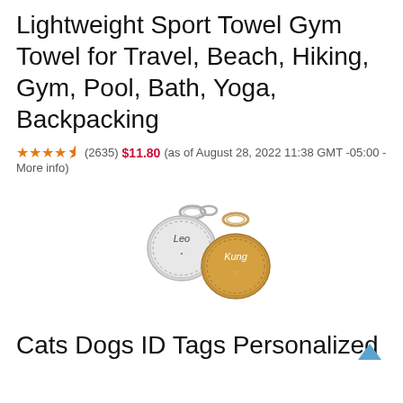Lightweight Sport Towel Gym Towel for Travel, Beach, Hiking, Gym, Pool, Bath, Yoga, Backpacking
★★★★½ (2635) $11.80 (as of August 28, 2022 11:38 GMT -05:00 - More info)
[Figure (photo): Photo of two personalized pet ID tags with rings — one silver disc engraved with 'Leo' and one gold disc engraved with 'Kung', both with key rings attached.]
Cats Dogs ID Tags Personalized